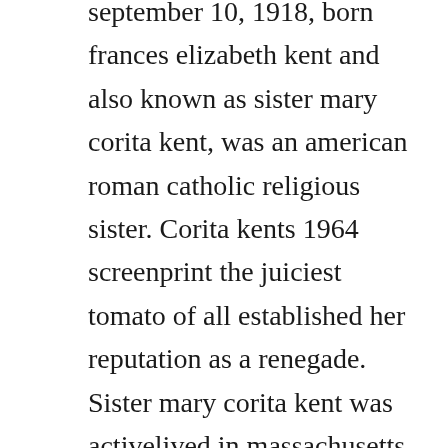september 10, 1918, born frances elizabeth kent and also known as sister mary corita kent, was an american roman catholic religious sister. Corita kents 1964 screenprint the juiciest tomato of all established her reputation as a renegade. Sister mary corita kent was activelived in massachusetts, california, iowa canada. Corita kent, also known as sister mary corita, was an artist with an innovative approach to design and education.
Sister mary corita kent, was born frances elizabeth kent in fort dodge, iowa. Celebrating